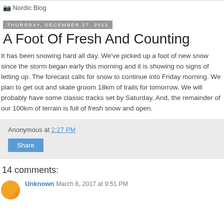Nordic Blog
Thursday, December 27, 2012
A Foot Of Fresh And Counting
It has been snowing hard all day. We've picked up a foot of new snow since the storm began early this morning and it is showing no signs of letting up. The forecast calls for snow to continue into Friday morning. We plan to get out and skate groom 18km of trails for tomorrow. We will probably have some classic tracks set by Saturday. And, the remainder of our 100km of terrain is full of fresh snow and open.
Anonymous at 2:27 PM
Share
14 comments:
Unknown March 8, 2017 at 9:51 PM